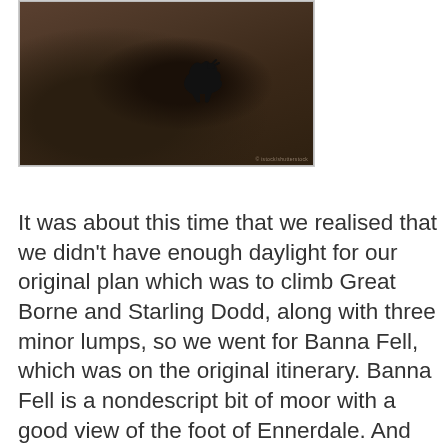[Figure (photo): Dark photograph of a black dog (silhouette) on moorland/grassland terrain with dark brown and earthy tones]
It was about this time that we realised that we didn't have enough daylight for our original plan which was to climb Great Borne and Starling Dodd, along with three minor lumps, so we went for Banna Fell, which was on the original itinerary. Banna Fell is a nondescript bit of moor with a good view of the foot of Ennerdale. And then we retraced for a bit, but skirted around the side of Hen Comb by a descending traverse, then up for the bagging of Scale Knott, which is but a pimple on the side of melbreak, but with a very fab view of Grasmoor and Crummack Water. It was on this traverse, that Bruno demonstrated his fence-jumping skills, sailing over top wires and landing gracefully and without breaking